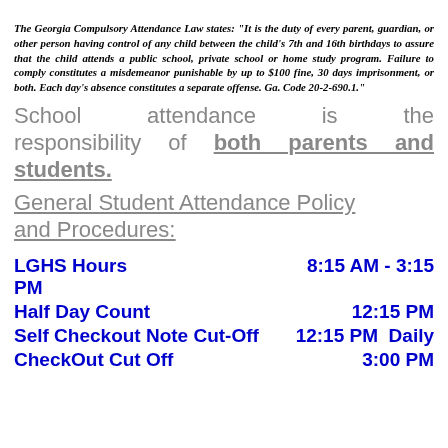The Georgia Compulsory Attendance Law states: "It is the duty of every parent, guardian, or other person having control of any child between the child's 7th and 16th birthdays to assure that the child attends a public school, private school or home study program. Failure to comply constitutes a misdemeanor punishable by up to $100 fine, 30 days imprisonment, or both. Each day's absence constitutes a separate offense. Ga. Code 20-2-690.1."
School attendance is the responsibility of both parents and students.
General Student Attendance Policy and Procedures:
LGHS Hours   8:15 AM - 3:15 PM
Half Day Count   12:15 PM
Self Checkout Note Cut-Off   12:15 PM  Daily
CheckOut Cut Off   3:00 PM